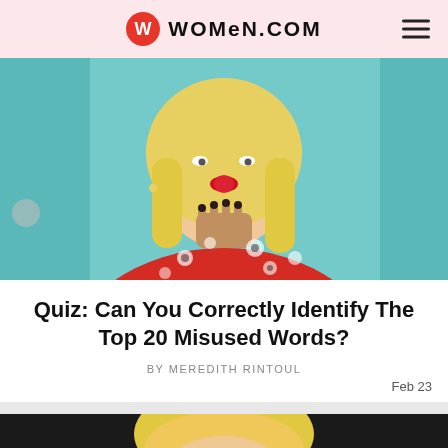WOMEN.COM
[Figure (photo): Blonde woman in red floral dress with dark nail polish, fingers touching chin, making a kissing expression, against a teal background]
Quiz: Can You Correctly Identify The Top 20 Misused Words?
BY MEREDITH RINTOUL
Feb 23
[Figure (photo): Partial view of a blonde woman's head, bottom portion visible, dark background]